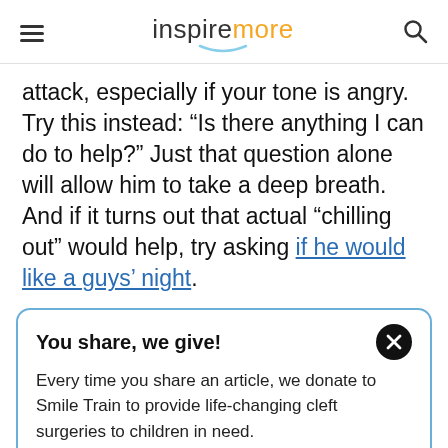inspiremore
attack, especially if your tone is angry. Try this instead: “Is there anything I can do to help?” Just that question alone will allow him to take a deep breath. And if it turns out that actual “chilling out” would help, try asking if he would like a guys’ night.
You share, we give! Every time you share an article, we donate to Smile Train to provide life-changing cleft surgeries to children in need. $10.92 raised today! Learn more here.